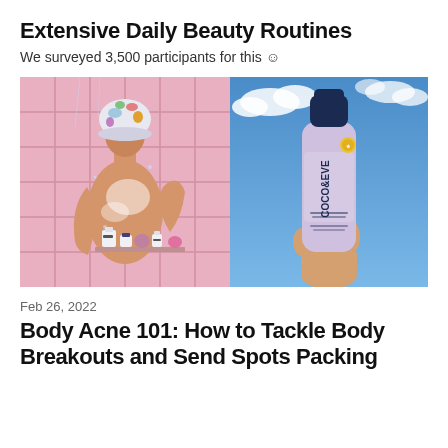Extensive Daily Beauty Routines
We surveyed 3,500 participants for this 🙂
[Figure (photo): Two-panel composite image: left panel shows a person with a floral shower cap washing their back in a pink tiled shower bathroom with Coco & Eve products on a shelf; right panel shows a hand holding a lavender Coco & Eve bottle against a blue sky.]
Feb 26, 2022
Body Acne 101: How to Tackle Body Breakouts and Send Spots Packing